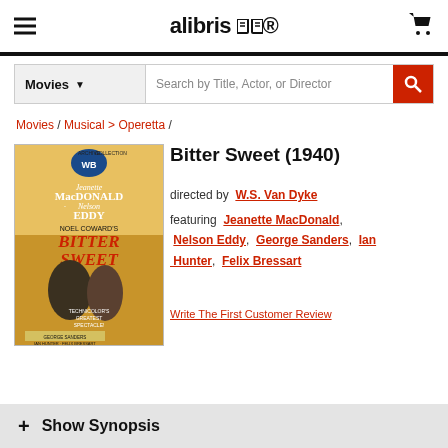alibris
Movies  Search by Title, Actor, or Director
Movies / Musical > Operetta /
[Figure (photo): Movie poster for Bitter Sweet (1940) featuring Jeanette MacDonald and Nelson Eddy, Warner Bros Archive Collection]
Bitter Sweet (1940)
directed by  W.S. Van Dyke
featuring  Jeanette MacDonald,  Nelson Eddy,  George Sanders,  Ian Hunter,  Felix Bressart
Write The First Customer Review
+ Show Synopsis